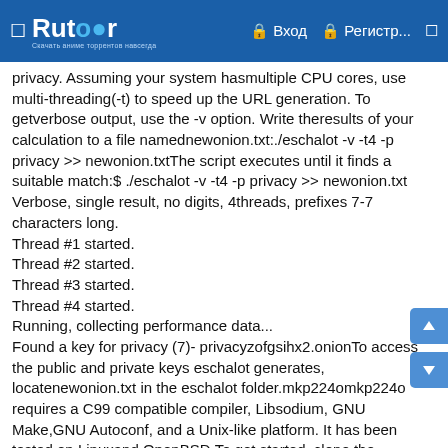Rutor — Вход — Регистр...
privacy. Assuming your system hasmultiple CPU cores, use multi-threading(-t) to speed up the URL generation. To getverbose output, use the -v option. Write theresults of your calculation to a file namednewonion.txt:./eschalot -v -t4 -p privacy >> newonion.txtThe script executes until it finds a suitable match:$ ./eschalot -v -t4 -p privacy >> newonion.txt Verbose, single result, no digits, 4threads, prefixes 7-7 characters long. Thread #1 started. Thread #2 started. Thread #3 started. Thread #4 started. Running, collecting performance data... Found a key for privacy (7)- privacyzofgsihx2.onionTo access the public and private keys eschalot generates, locatenewonion.txt in the eschalot folder.mkp224omkp224o requires a C99 compatible compiler, Libsodium, GNU Make,GNU Autoconf, and a Unix-like platform. It has been tested on Linuxand OpenBSD.To get started, clone the